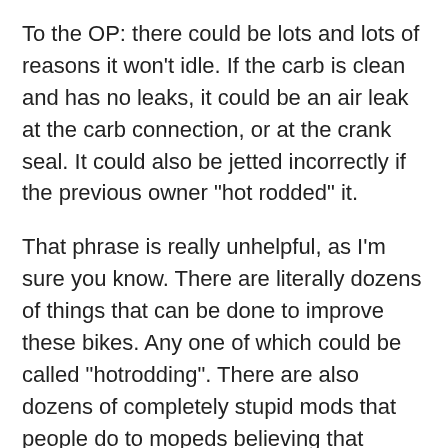To the OP: there could be lots and lots of reasons it won't idle. If the carb is clean and has no leaks, it could be an air leak at the carb connection, or at the crank seal. It could also be jetted incorrectly if the previous owner "hot rodded" it.
That phrase is really unhelpful, as I'm sure you know. There are literally dozens of things that can be done to improve these bikes. Any one of which could be called "hotrodding". There are also dozens of completely stupid mods that people do to mopeds believing that they're magically going to create 100hp and 70mph. And those mods often make the bike run worse, if they have any effect at all.
Your best bet is to figure out what stock was, try to match that, and then go from there.
Unfortunately, you're going to have to read bunches of